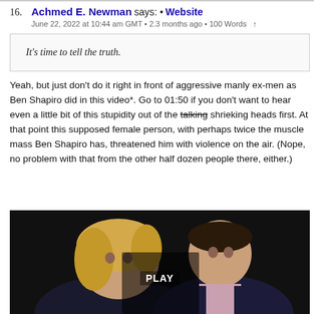16. Achmed E. Newman says: • Website
June 22, 2022 at 10:44 am GMT • 2.3 months ago • 100 Words ↑
It's time to tell the truth.
Yeah, but just don't do it right in front of aggressive manly ex-men as Ben Shapiro did in this video*. Go to 01:50 if you don't want to hear even a little bit of this stupidity out of the talking shrieking heads first. At that point this supposed female person, with perhaps twice the muscle mass Ben Shapiro has, threatened him with violence on the air. (Nope, no problem with that from the other half dozen people there, either.)
[Figure (photo): Video thumbnail showing two people facing each other, with a PLAY button overlay, dark background]